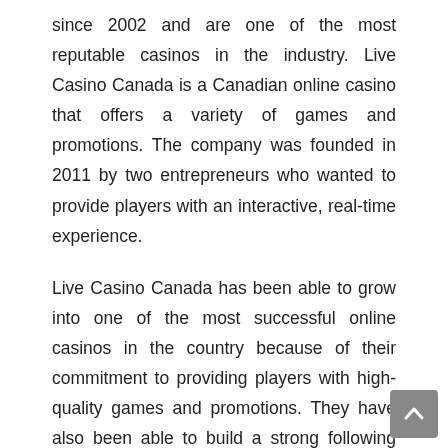since 2002 and are one of the most reputable casinos in the industry. Live Casino Canada is a Canadian online casino that offers a variety of games and promotions. The company was founded in 2011 by two entrepreneurs who wanted to provide players with an interactive, real-time experience.
Live Casino Canada has been able to grow into one of the most successful online casinos in the country because of their commitment to providing players with high-quality games and promotions. They have also been able to build a strong following because they offer players more than just slots and table games – they also offer live poker,